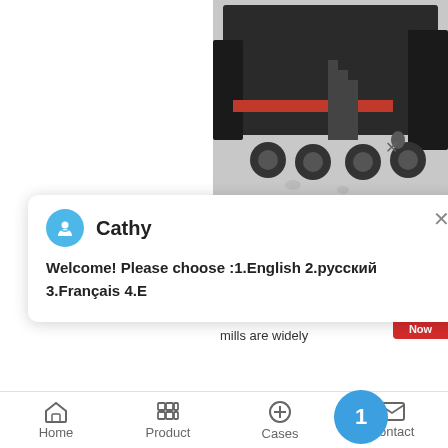environmental pollution.
get price
[Figure (photo): Industrial machinery - a mobile crusher/screening equipment on a trailer, photographed from above at an angle, showing a large dark metal machine with conveyor belts]
[Figure (screenshot): Chat popup overlay with avatar icon of 'Cathy' and message: Welcome! Please choose :1.English 2.русский 3.Français 4.E]
mill mill
2020-11-2   Ball mill is a key equipment for grinding materials. thus grinding ball mills are widely
Home   Product   Cases   Contact